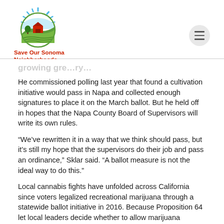[Figure (logo): Save Our Sonoma Neighborhoods Citizens Advisory Group logo — circular emblem with farm, barn, tree, and sunburst above green hills, with organization name in red bold text and 'Citizens Advisory Group' subtitle in gray]
He commissioned polling last year that found a cultivation initiative would pass in Napa and collected enough signatures to place it on the March ballot. But he held off in hopes that the Napa County Board of Supervisors will write its own rules.
“We’ve rewritten it in a way that we think should pass, but it’s still my hope that the supervisors do their job and pass an ordinance,” Sklar said. “A ballot measure is not the ideal way to do this.”
Local cannabis fights have unfolded across California since voters legalized recreational marijuana through a statewide ballot initiative in 2016. Because Proposition 64 let local leaders decide whether to allow marijuana cultivation and